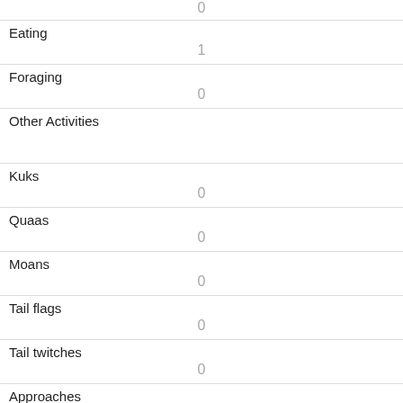| (partial row — top cut off) |
| Eating | 1 |
| Foraging | 0 |
| Other Activities |  |
| Kuks | 0 |
| Quaas | 0 |
| Moans | 0 |
| Tail flags | 0 |
| Tail twitches | 0 |
| Approaches | 1 |
| Indifferent | 0 |